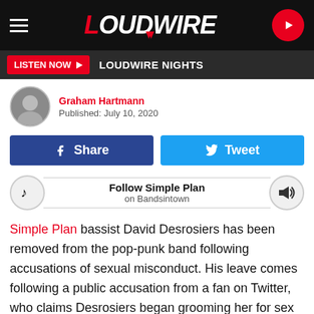LOUDWIRE
LISTEN NOW  LOUDWIRE NIGHTS
Graham Hartmann
Published: July 10, 2020
Share  Tweet
Follow Simple Plan on Bandsintown
Simple Plan bassist David Desrosiers has been removed from the pop-punk band following accusations of sexual misconduct. His leave comes following a public accusation from a fan on Twitter, who claims Desrosiers began grooming her for sex when she was underage.
Desrosiers joined Simple Plan in 2000 and ascended with the